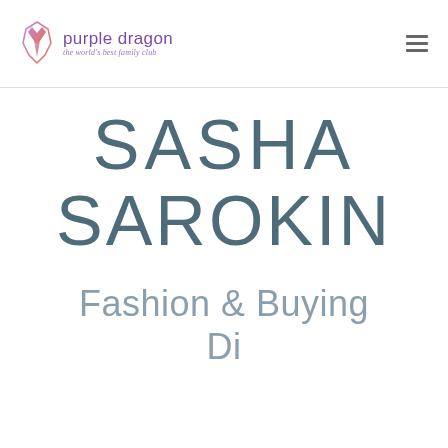[Figure (logo): Purple Dragon logo with stylized dragon icon and text 'purple dragon' with tagline 'the world's best family club']
SASHA SAROKIN
Fashion & Buying Di...